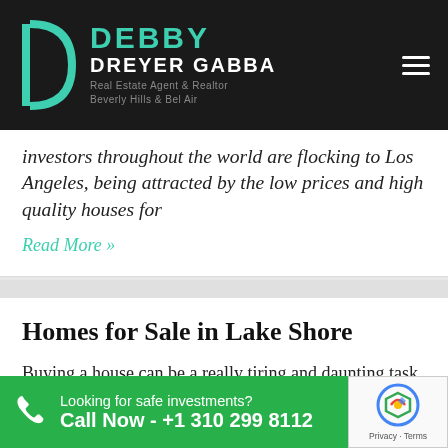DEBBY DREYER GABBA — Real Estate Agent & Realtor, Beverly Hills & Bel Air
investors throughout the world are flocking to Los Angeles, being attracted by the low prices and high quality houses for
Read More »
Homes for Sale in Lake Shore
Buying a house can be a really tiring and daunting task. This article will provide enough information to start the
Read More »
Looking for safe investments?
Call Now - +1 310 299 8112